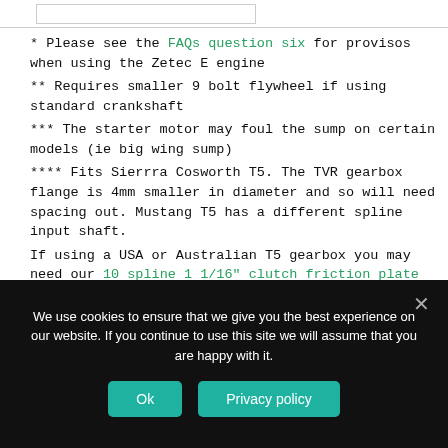* Please see the FAQs question six for provisos when using the Zetec E engine
** Requires smaller 9 bolt flywheel if using standard crankshaft
*** The starter motor may foul the sump on certain models (ie big wing sump)
**** Fits Sierrra Cosworth T5. The TVR gearbox flange is 4mm smaller in diameter and so will need spacing out. Mustang T5 has a different spline input shaft.
If using a USA or Australian T5 gearbox you may need our 10 spline 1 1/16" clutch friction plate
We use cookies to ensure that we give you the best experience on our website. If you continue to use this site we will assume that you are happy with it.